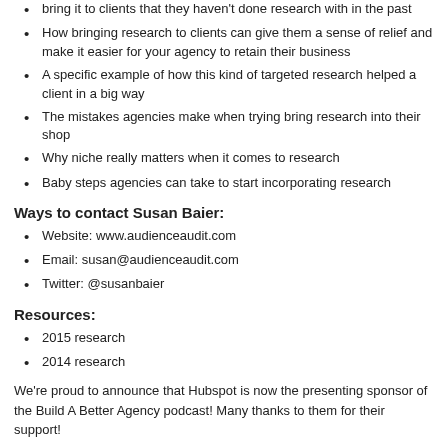bring it to clients that they haven't done research with in the past
How bringing research to clients can give them a sense of relief and make it easier for your agency to retain their business
A specific example of how this kind of targeted research helped a client in a big way
The mistakes agencies make when trying bring research into their shop
Why niche really matters when it comes to research
Baby steps agencies can take to start incorporating research
Ways to contact Susan Baier:
Website: www.audienceaudit.com
Email: susan@audienceaudit.com
Twitter: @susanbaier
Resources:
2015 research
2014 research
We're proud to announce that Hubspot is now the presenting sponsor of the Build A Better Agency podcast! Many thanks to them for their support!
[Figure (other): Audio player widget for Episode 14: Using Research to Grow Your Agency, with Su... showing play button, progress bar at 00:00:00, and libsyn logo]